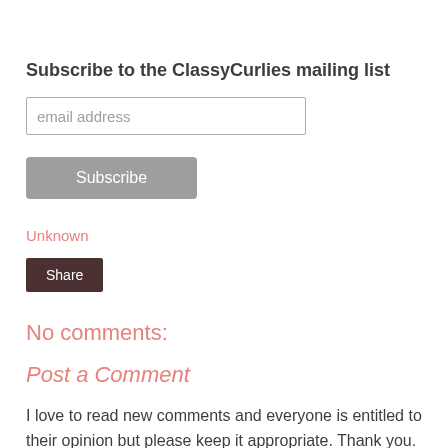Subscribe to the ClassyCurlies mailing list
email address
Subscribe
Unknown
Share
No comments:
Post a Comment
I love to read new comments and everyone is entitled to their opinion but please keep it appropriate. Thank you.